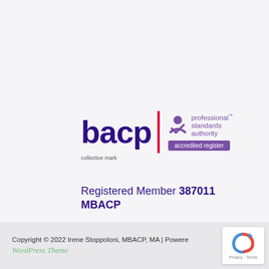[Figure (logo): BACP collective mark logo with Professional Standards Authority accredited register badge]
Registered Member 387011 MBACP
Copyright © 2022 Irene Stoppoloni, MBACP, MA | Powered WordPress Theme